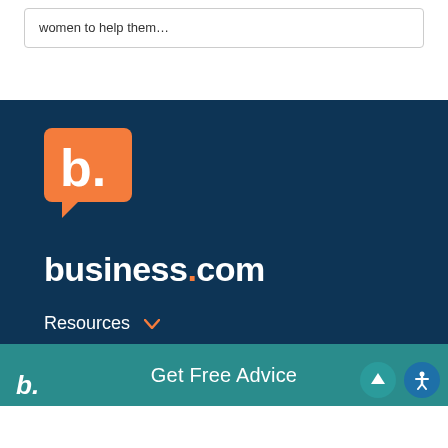women to help them…
[Figure (logo): business.com logo: orange speech bubble with white 'b.' text and the wordmark 'business.com' in white bold text on dark navy background]
Resources
Our Company
b. Get Free Advice